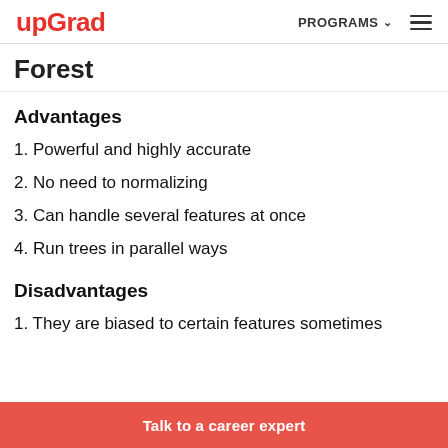upGrad | PROGRAMS ☰
Forest
Advantages
1. Powerful and highly accurate
2. No need to normalizing
3. Can handle several features at once
4. Run trees in parallel ways
Disadvantages
1. They are biased to certain features sometimes
Talk to a career expert